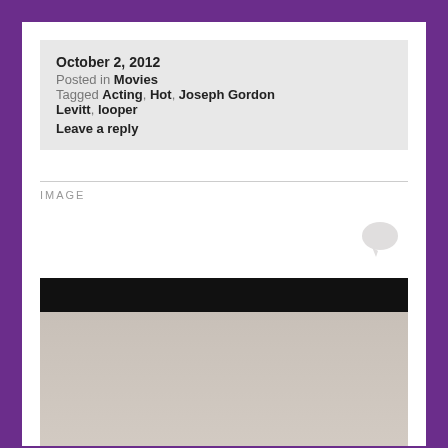October 2, 2012  Posted in Movies  Tagged Acting, Hot, Joseph Gordon Levitt, looper  Leave a reply
IMAGE
[Figure (photo): A man pouring liquid from a container held above his head, with water splashing down onto his dark wet hair. He is wearing a light-colored shirt and has his eyes closed. The background is grey/white with a dark top section.]